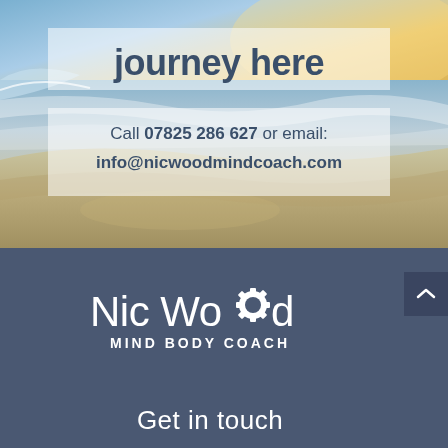[Figure (photo): Beach sunset scene with ocean waves and sandy shore, warm golden and blue tones]
journey here
Call 07825 286 627 or email:
info@nicwoodmindcoach.com
[Figure (logo): Nic Wood Mind Body Coach logo in white on dark blue background]
Get in touch